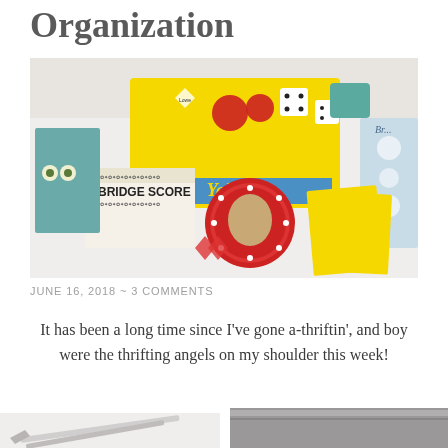Organization
[Figure (photo): Flat lay photo of vintage board games and items including a Yahtzee box, Bridge Score pad, playing cards, dice, and decorative items on a white surface.]
JUNE 16, 2018  ~  3 COMMENTS
It has been a long time since I've gone a-thriftin', and boy were the thrifting angels on my shoulder this week!
[Figure (photo): Partial view of items on a white surface — the bottom edge of another photo showing objects including what appear to be tools or craft supplies.]